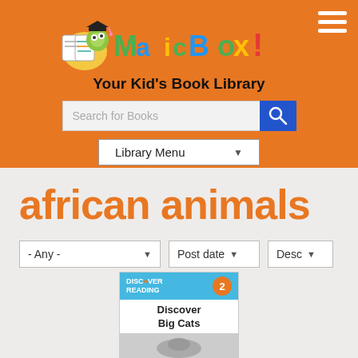[Figure (logo): MagicBlox logo with cartoon bookworm wearing graduation cap reading a book, colorful letter blocks spelling MagicBlox!]
Your Kid's Book Library
[Figure (screenshot): Search for Books input field with blue magnifying glass button]
[Figure (screenshot): Library Menu dropdown selector]
african animals
[Figure (screenshot): Filter dropdowns: - Any -, Post date, Desc]
[Figure (illustration): Book card for Discover Big Cats with Discover Reading level 2 badge on teal banner, book title text and partial image at bottom]